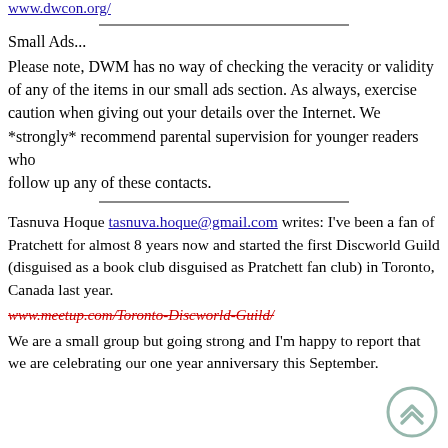www.dwcon.org/
Small Ads...
Please note, DWM has no way of checking the veracity or validity of any of the items in our small ads section. As always, exercise caution when giving out your details over the Internet. We *strongly* recommend parental supervision for younger readers who follow up any of these contacts.
Tasnuva Hoque tasnuva.hoque@gmail.com writes: I've been a fan of Pratchett for almost 8 years now and started the first Discworld Guild (disguised as a book club disguised as Pratchett fan club) in Toronto, Canada last year.
www.meetup.com/Toronto-Discworld-Guild/
We are a small group but going strong and I'm happy to report that we are celebrating our one year anniversary this September.